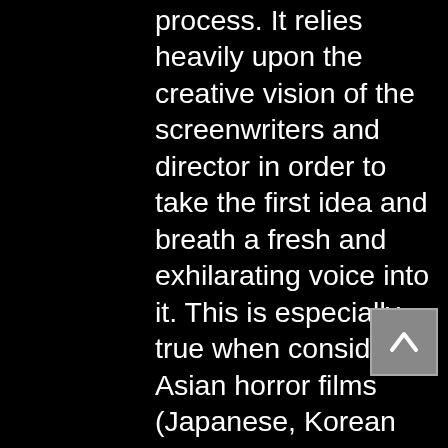process.  It relies heavily upon the creative vision of the screenwriters and director in order to take the first idea and breath a fresh and exhilarating voice into it.  This is especially true when considering Asian horror films (Japanese, Korean and Chinese to be specific), which are notorious for their ability to evoke a twisted, horrific dread from the viewer with an apparent effortlessness.  Western directors have a hard time recapturing the innate fear of the originals.  Bollywood directors have had an even harder time because of their tendency to melodramatize the storyline in a distinctly Disneyesque way in order to give it a happy